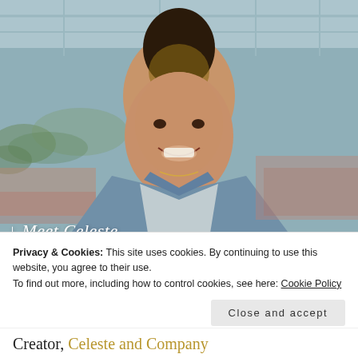[Figure (photo): Smiling young woman with natural updo hair, wearing a denim jacket over a light top, photographed in a greenhouse or garden center with blurred rows of plants and terracotta pots in the background.]
↓ Meet Celeste
Privacy & Cookies: This site uses cookies. By continuing to use this website, you agree to their use.
To find out more, including how to control cookies, see here: Cookie Policy
Close and accept
Creator, Celeste and Company